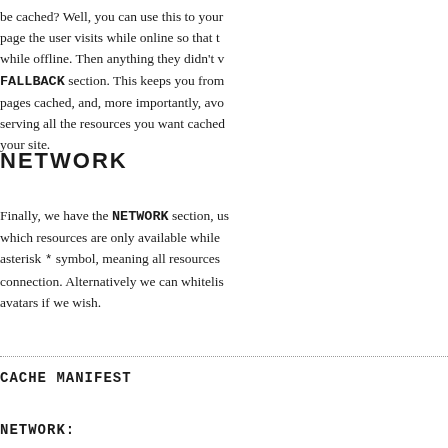be cached? Well, you can use this to your page the user visits while online so that t while offline. Then anything they didn't v FALLBACK section. This keeps you from pages cached, and, more importantly, avo serving all the resources you want cached your site.
NETWORK
Finally, we have the NETWORK section, u which resources are only available while asterisk * symbol, meaning all resources connection. Alternatively we can whitelis avatars if we wish.
CACHE MANIFEST
NETWORK: